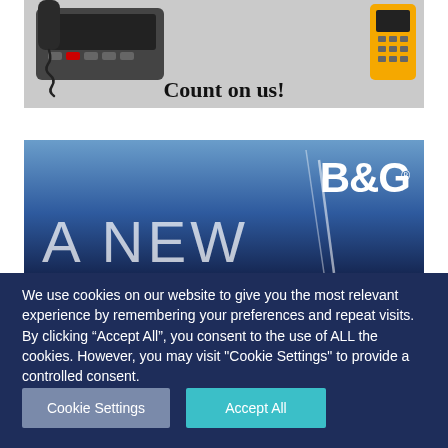[Figure (photo): Advertisement image showing marine radio communication devices (a black VHF radio with handset/cord and a yellow handheld device) with text 'Count on us!' on a gray background]
[Figure (photo): B&G brand advertisement with blue sky/mast background, large white B&G logo in top right, and large light text reading 'A NEW' in bottom left]
We use cookies on our website to give you the most relevant experience by remembering your preferences and repeat visits. By clicking “Accept All”, you consent to the use of ALL the cookies. However, you may visit "Cookie Settings" to provide a controlled consent.
Cookie Settings
Accept All